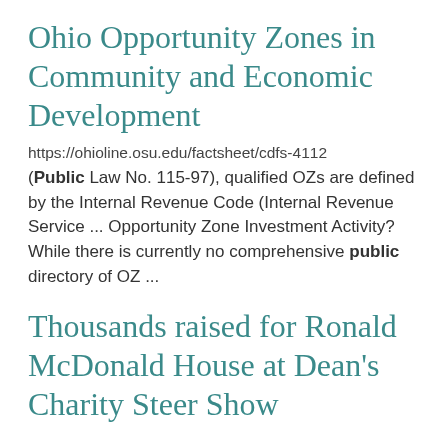Ohio Opportunity Zones in Community and Economic Development
https://ohioline.osu.edu/factsheet/cdfs-4112
(Public Law No. 115-97), qualified OZs are defined by the Internal Revenue Code (Internal Revenue Service ... Opportunity Zone Investment Activity? While there is currently no comprehensive public directory of OZ ...
Thousands raised for Ronald McDonald House at Dean's Charity Steer Show